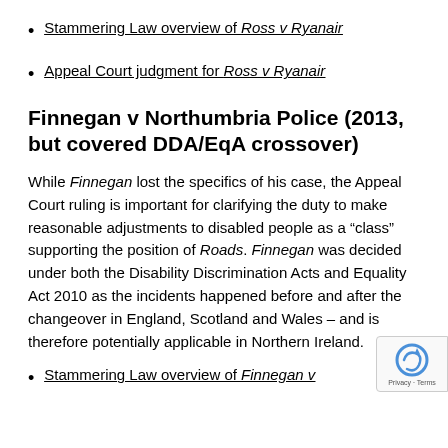Stammering Law overview of Ross v Ryanair
Appeal Court judgment for Ross v Ryanair
Finnegan v Northumbria Police (2013, but covered DDA/EqA crossover)
While Finnegan lost the specifics of his case, the Appeal Court ruling is important for clarifying the duty to make reasonable adjustments to disabled people as a “class” supporting the position of Roads. Finnegan was decided under both the Disability Discrimination Acts and Equality Act 2010 as the incidents happened before and after the changeover in England, Scotland and Wales – and is therefore potentially applicable in Northern Ireland.
Stammering Law overview of Finnegan v Northumbria Police